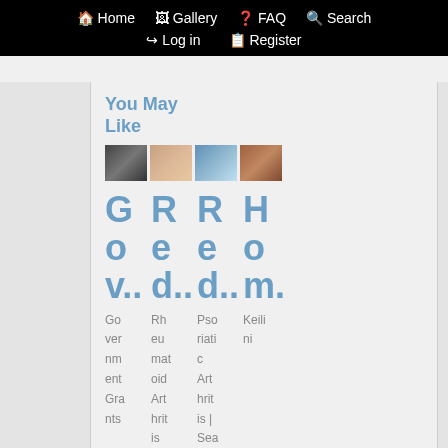Home  Gallery  FAQ  Search  Log in  Register
You May Like
[Figure (photo): Four small thumbnail images in a row]
G R R H o e e o v..d..d..m. Government Grants  Rheumatoid Arthritis is Signs &  Psoriatic Art hritis | Sea rch Ads  Keilini